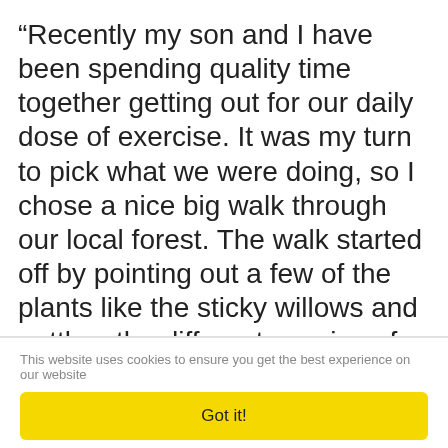“Recently my son and I have been spending quality time together getting out for our daily dose of exercise. It was my turn to pick what we were doing, so I chose a nice big walk through our local forest. The walk started off by pointing out a few of the plants like the sticky willows and nettles, the different species of fungi and moss, alongside the wide variety of trees. It didn’t take long until my son was pointing out all the different species he could find himself, and I was just blown away with how much he had taken in.”
This website uses cookies to ensure you get the best experience on our website
Got it!